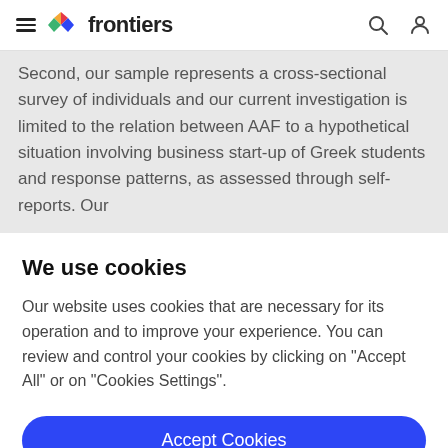frontiers
Second, our sample represents a cross-sectional survey of individuals and our current investigation is limited to the relation between AAF to a hypothetical situation involving business start-up of Greek students and response patterns, as assessed through self-reports. Our
We use cookies
Our website uses cookies that are necessary for its operation and to improve your experience. You can review and control your cookies by clicking on "Accept All" or on "Cookies Settings".
Accept Cookies
Cookies Settings